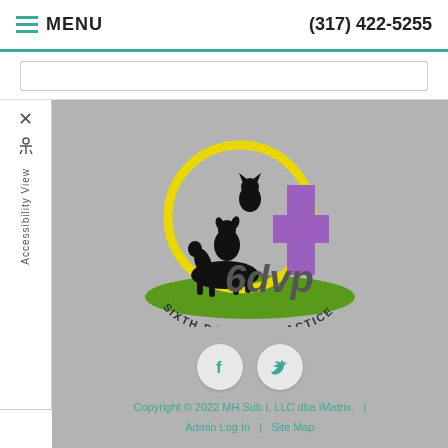MENU | (317) 422-5255
[Figure (logo): Sixth Day Vet Practice (6dvp) logo: yellow circle with black silhouette of animals (horse, dog, cat), purple cross, green hill, text 'SIXTH DAY VET PRACTICE' in arc below]
[Figure (illustration): Facebook icon button (circular, teal 'f' on light background)]
[Figure (illustration): Twitter icon button (circular, teal bird on light background)]
Copyright © 2022 MH Sub I, LLC dba iMatrix.  |  Admin Log In  |  Site Map